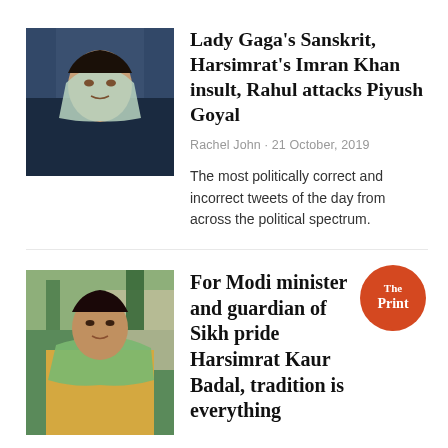[Figure (photo): Photo of Harsimrat Kaur Badal wearing a light green dupatta, looking serious, with a blurred background of people]
Lady Gaga's Sanskrit, Harsimrat's Imran Khan insult, Rahul attacks Piyush Goyal
Rachel John · 21 October, 2019
The most politically correct and incorrect tweets of the day from across the political spectrum.
[Figure (photo): Photo of Harsimrat Kaur Badal in a yellow and green salwar suit, outdoors with green trees in background]
[Figure (logo): The Print logo — orange circle with white text 'The Print' and a speech bubble tail at the bottom]
For Modi minister and guardian of Sikh pride Harsimrat Kaur Badal, tradition is everything